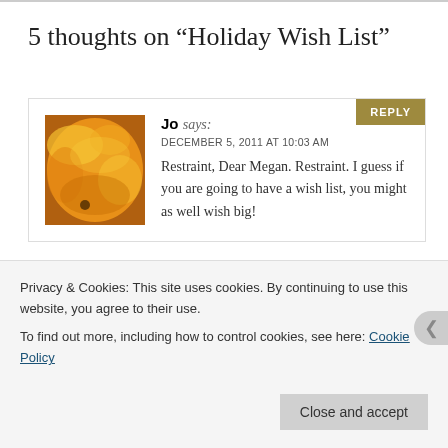5 thoughts on “Holiday Wish List”
Jo says:
DECEMBER 5, 2011 AT 10:03 AM
Restraint, Dear Megan. Restraint. I guess if you are going to have a wish list, you might as well wish big!
REPLY
REPLY
Privacy & Cookies: This site uses cookies. By continuing to use this website, you agree to their use.
To find out more, including how to control cookies, see here: Cookie Policy
Close and accept